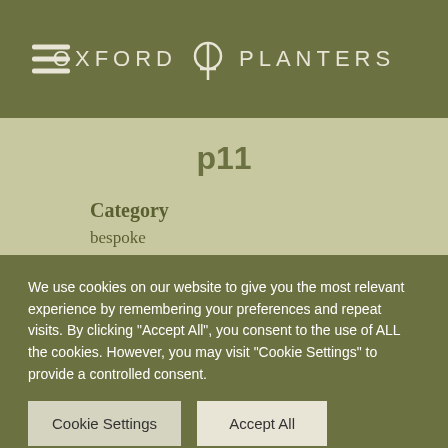OXFORD PLANTERS
p11
Category
bespoke
About This Project
We use cookies on our website to give you the most relevant experience by remembering your preferences and repeat visits. By clicking "Accept All", you consent to the use of ALL the cookies. However, you may visit "Cookie Settings" to provide a controlled consent.